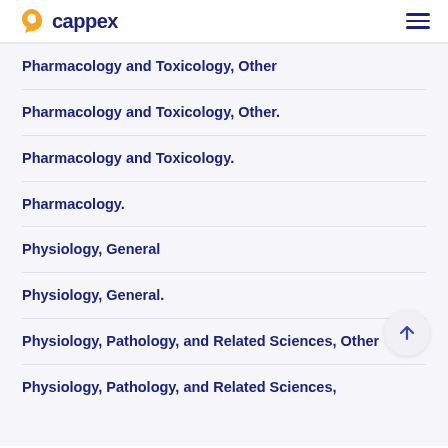cappex
Pharmacology and Toxicology, Other
Pharmacology and Toxicology, Other.
Pharmacology and Toxicology.
Pharmacology.
Physiology, General
Physiology, General.
Physiology, Pathology, and Related Sciences, Other
Physiology, Pathology, and Related Sciences,